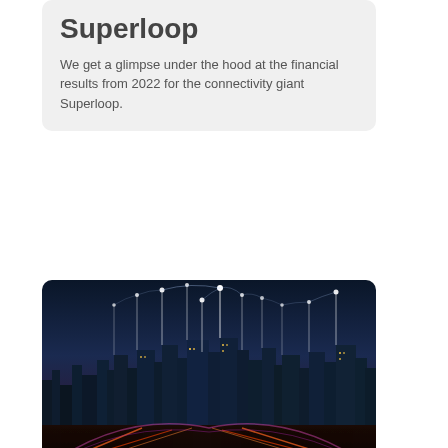Superloop
We get a glimpse under the hood at the financial results from 2022 for the connectivity giant Superloop.
[Figure (photo): Night cityscape with glowing network connectivity lines rising from skyscrapers, representing digital network infrastructure over an Asian city at dusk.]
SD-WAN
Axiata, Versa Networks partner for enterprise SASE in Asia
Axiata has partnered with...